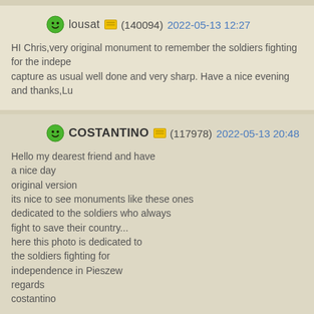lousat (140094) 2022-05-13 12:27
HI Chris,very original monument to remember the soldiers fighting for the independence, capture as usual well done and very sharp. Have a nice evening and thanks,Lu...
COSTANTINO (117978) 2022-05-13 20:48
Hello my dearest friend and have a nice day
original version
its nice to see monuments like these ones dedicated to the soldiers who always fight to save their country...
here this photo is dedicated to the soldiers fighting for independence in Pieszew
regards
costantino
jemaflor (148420) 2022-05-13 23:12
Hi Krzysztof,
interesting monument, a good tribute for soldiers, good sharpness, sad souveni...